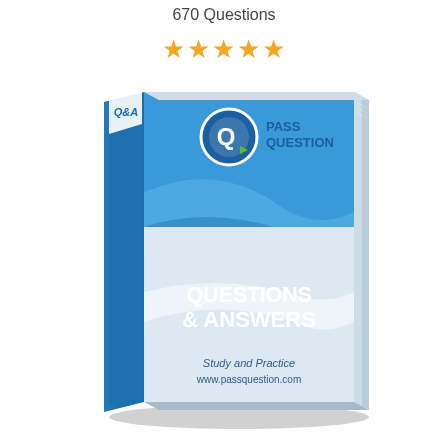670 Questions
[Figure (illustration): Five orange star rating icons]
[Figure (illustration): PassQuestion Q&A study book cover showing 'QUESTIONS & ANSWERS' text, 'PASS QUESTION' spine, logo with Q and arrow, 'Study and Practice www.passquestion.com' text at bottom, blue and white color scheme]